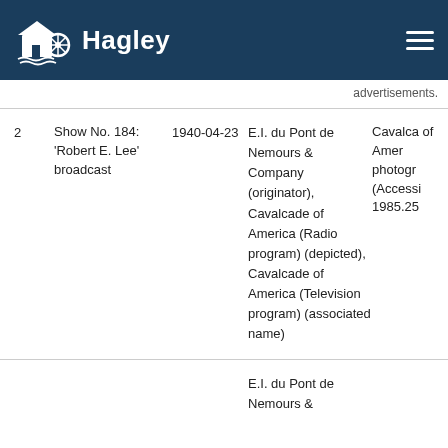Hagley
advertisements.
| # | Title | Date | Names | Collection |
| --- | --- | --- | --- | --- |
| 2 | Show No. 184: 'Robert E. Lee' broadcast | 1940-04-23 | E.I. du Pont de Nemours & Company (originator), Cavalcade of America (Radio program) (depicted), Cavalcade of America (Television program) (associated name) | Cavalcade of America photographs (Accession 1985.25… |
|  |  |  | E.I. du Pont de Nemours & |  |